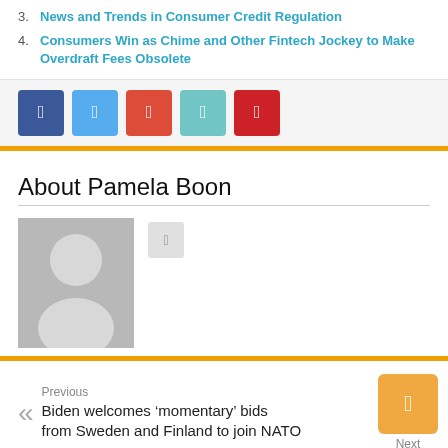3. News and Trends in Consumer Credit Regulation
4. Consumers Win as Chime and Other Fintech Jockey to Make Overdraft Fees Obsolete
About Pamela Boon
[Figure (photo): Default author avatar placeholder image with silhouette]
Previous
Biden welcomes 'momentary' bids from Sweden and Finland to join NATO
Next